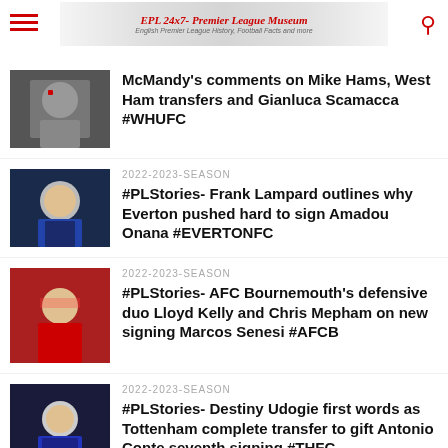EPL 24x7 - Premier League Museum
[Figure (screenshot): Banner logo for EPL 24x7 Premier League Museum website]
McMandy's comments on Mike Hams, West Ham transfers and Gianluca Scamacca #WHUFC
2022-2023-SEASON
#PLStories- Frank Lampard outlines why Everton pushed hard to sign Amadou Onana #EVERTONFC
2022-2023-SEASON
#PLStories- AFC Bournemouth's defensive duo Lloyd Kelly and Chris Mepham on new signing Marcos Senesi #AFCB
2022-2023-SEASON
#PLStories- Destiny Udogie first words as Tottenham complete transfer to gift Antonio Conte seventh signing #THFC
MORE IN 2019-2020-SEASON